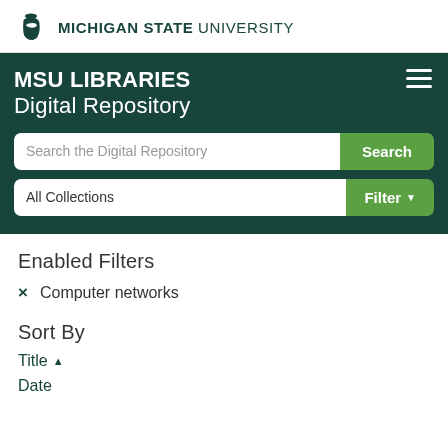[Figure (logo): Michigan State University Spartan helmet logo with wordmark: MICHIGAN STATE UNIVERSITY]
MSU LIBRARIES Digital Repository
Search the Digital Repository [Search button]
All Collections [Filter button]
Enabled Filters
× Computer networks
Sort By
Title ▲
Date